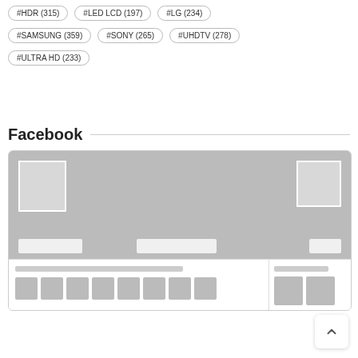#HDR (315)
#LED LCD (197)
#LG (234)
#SAMSUNG (359)
#SONY (265)
#UHDTV (278)
#ULTRA HD (233)
Facebook
[Figure (screenshot): A Facebook page mockup showing a cover photo area with two profile-like image placeholders, action buttons, and a content area with text lines and thumbnail image grids below.]